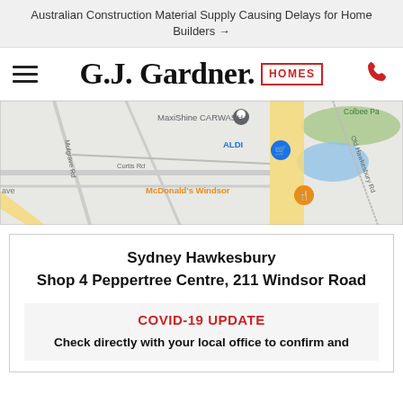Australian Construction Material Supply Causing Delays for Home Builders →
[Figure (logo): G.J. Gardner Homes logo with hamburger menu and phone icon in navigation bar]
[Figure (map): Google Maps view showing area around Windsor Road with MaxiShine CARWASH, ALDI, McDonald's Windsor, Colbee Park, Mulgrave Rd, Curtis Rd, Old Hawkesbury Rd labels]
Sydney Hawkesbury
Shop 4 Peppertree Centre, 211 Windsor Road
COVID-19 UPDATE
Check directly with your local office to confirm and